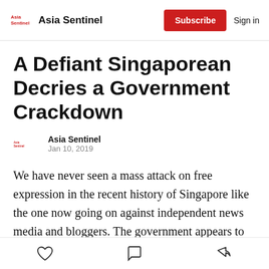Asia Sentinel | Subscribe | Sign in
A Defiant Singaporean Decries a Government Crackdown
Asia Sentinel
Jan 10, 2019
We have never seen a mass attack on free expression in the recent history of Singapore like the one now going on against independent news media and bloggers. The government appears to have become emboldened in the past one to two years, spurred in part by a general